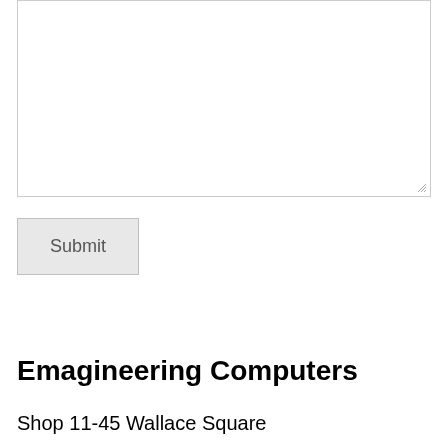[Figure (screenshot): A textarea input box with a resize handle in the bottom-right corner, and a light gray border]
Submit
Emagineering Computers
Shop 11-45 Wallace Square